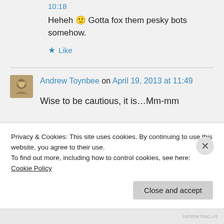10:18
Heheh 🙂 Gotta fox them pesky bots somehow.
★ Like
Andrew Toynbee on April 19, 2013 at 11:49
Wise to be cautious, it is…Mm-mm
Privacy & Cookies: This site uses cookies. By continuing to use this website, you agree to their use.
To find out more, including how to control cookies, see here: Cookie Policy
Close and accept